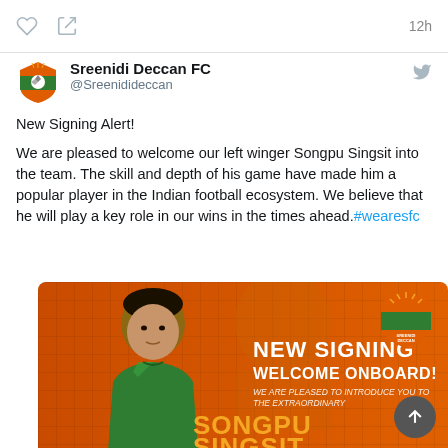12h
Sreenidi Deccan FC @Sreenidideccan
New Signing Alert!

We are pleased to welcome our left winger Songpu Singsit into the team. The skill and depth of his game have made him a popular player in the Indian football ecosystem. We believe that he will play a key role in our wins in the times ahead.#wearesfc
[Figure (photo): Promotional graphic with orange background showing footballer Songpu Singsit in green jersey, with text: NEW SIGNING WELCOME ONBOARD! WE ARE PLEASED TO INTRODUCE YOU TO THE EXTRAORDINARY SONGPU SINGSIT. Sreenidi Deccan Football Club logo in top right corner.]